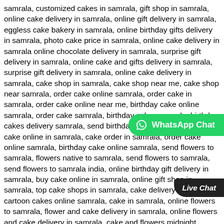samrala, customized cakes in samrala, gift shop in samrala, online cake delivery in samrala, online gift delivery in samrala, eggless cake bakery in samrala, online birthday gifts delivery in samrala, photo cake price in samrala, online cake delivery in samrala online chocolate delivery in samrala, surprise gift delivery in samrala, online cake and gifts delivery in samrala, surprise gift delivery in samrala, online cake delivery in samrala, cake shop in samrala, cake shop near me, cake shop near samrala, order cake online samrala, order cake in samrala, order cake online near me, birthday cake online samrala, order cake samrala, birthday cakes samrala, birthday cakes delivery samrala, send birthday cake to samrala, order cake online in samrala, cake order in samrala, order cake online samrala, birthday cake online samrala, send flowers to samrala, flowers native to samrala, send flowers to samrala, send flowers to samrala india, online birthday gift delivery in samrala, buy cake online in samrala, online gift shop in samrala, top cake shops in samrala, cake delivery in samrala, cartoon cakes online samrala, cake in samrala, online flowers to samrala, flower and cake delivery in samrala, online flowers and cake delivery in samrala, cake and flowers midnight delivery in samrala, cake and flowers online delivery in samrala cake and flowers samrala, birthday cake and flowers delivery in samrala, Send Combo Gifts Online in samrala, Buy Birthday Combos Online In samrala
[Figure (other): WhatsApp Chat floating button (green, rounded left)]
[Figure (other): Live Chat floating button (dark, rounded left)]